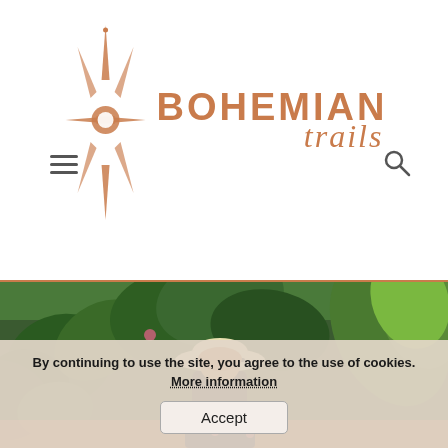Bohemian Trails - navigation header with logo
[Figure (photo): Woman in white hat standing in front of lush tropical green plants and foliage, wearing a black top and floral skirt]
By continuing to use the site, you agree to the use of cookies. More information  Accept